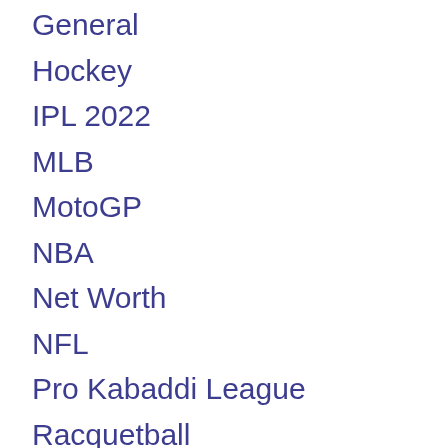General
Hockey
IPL 2022
MLB
MotoGP
NBA
Net Worth
NFL
Pro Kabaddi League
Racquetball
Relationship
Reviews
Rugby
Shoes